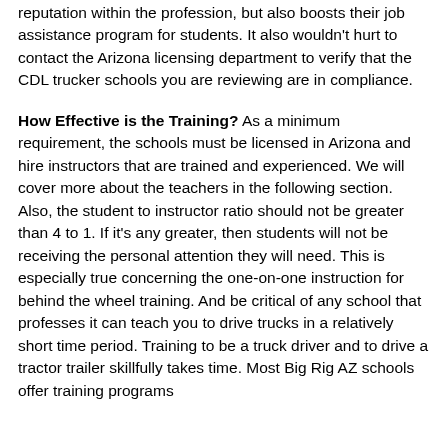reputation within the profession, but also boosts their job assistance program for students. It also wouldn't hurt to contact the Arizona licensing department to verify that the CDL trucker schools you are reviewing are in compliance.
How Effective is the Training? As a minimum requirement, the schools must be licensed in Arizona and hire instructors that are trained and experienced. We will cover more about the teachers in the following section. Also, the student to instructor ratio should not be greater than 4 to 1. If it's any greater, then students will not be receiving the personal attention they will need. This is especially true concerning the one-on-one instruction for behind the wheel training. And be critical of any school that professes it can teach you to drive trucks in a relatively short time period. Training to be a truck driver and to drive a tractor trailer skillfully takes time. Most Big Rig AZ schools offer training programs...